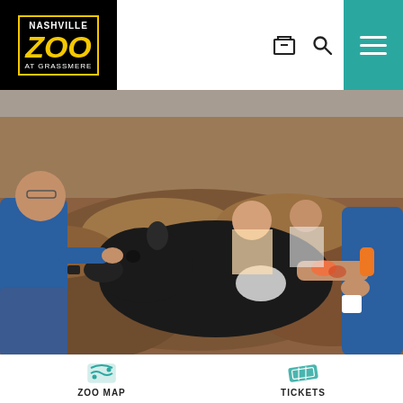Nashville Zoo at Grassmere — navigation header with logo, cart, search, and menu icons
[Figure (photo): Zoo veterinary staff attending to a large black tapir lying on its side on muddy ground outdoors. Multiple people in blue shirts are kneeling beside the animal, performing what appears to be a medical examination or procedure.]
The Rainforest Only Has One Chance
ZOO MAP | TICKETS